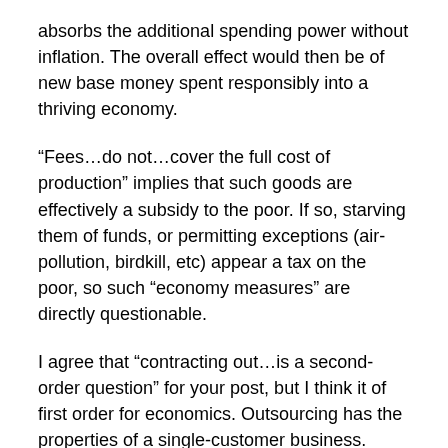absorbs the additional spending power without inflation. The overall effect would then be of new base money spent responsibly into a thriving economy.
“Fees…do not…cover the full cost of production” implies that such goods are effectively a subsidy to the poor. If so, starving them of funds, or permitting exceptions (air-pollution, birdkill, etc) appear a tax on the poor, so such “economy measures” are directly questionable.
I agree that “contracting out…is a second-order question” for your post, but I think it of first order for economics. Outsourcing has the properties of a single-customer business. Functional instances abound, but do we fully understand